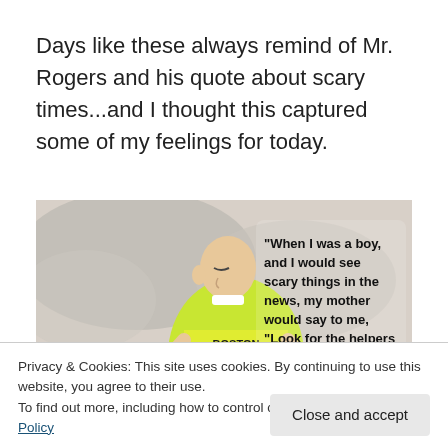Days like these always remind of Mr. Rogers and his quote about scary times...and I thought this captured some of my feelings for today.
[Figure (illustration): Editorial cartoon showing a Boston EMS worker carrying an injured person. A speech bubble reads: "When I was a boy, and I would see scary things in the news, my mother would say to me, 'Look for the helpers'"]
Privacy & Cookies: This site uses cookies. By continuing to use this website, you agree to their use.
To find out more, including how to control cookies, see here: Cookie Policy
Close and accept